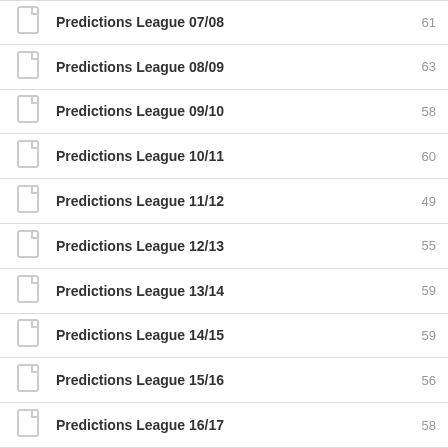Predictions League 07/08 — 61
Predictions League 08/09 — 63
Predictions League 09/10 — 58
Predictions League 10/11 — 60
Predictions League 11/12 — 49
Predictions League 12/13 — 55
Predictions League 13/14 — 59
Predictions League 14/15 — 59
Predictions League 15/16 — 56
Predictions League 16/17 — 58